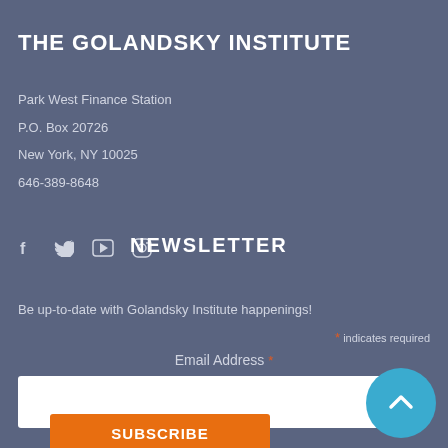THE GOLANDSKY INSTITUTE
Park West Finance Station
P.O. Box 20726
New York, NY 10025
646-389-8648
[Figure (other): Social media icons: Facebook, Twitter, YouTube, Instagram]
NEWSLETTER
Be up-to-date with Golandsky Institute happenings!
* indicates required
Email Address *
SUBSCRIBE